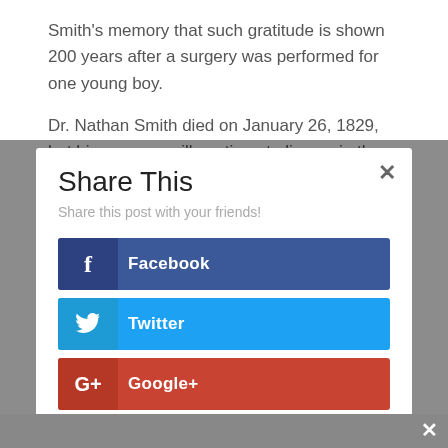Smith's memory that such gratitude is shown 200 years after a surgery was performed for one young boy.
Dr. Nathan Smith died on January 26, 1829, but his memory will continue to live on in the schools he
[Figure (screenshot): Share This modal dialog with social share buttons: Facebook (dark blue), Twitter (light blue), Google+ (red-orange), Pinterest (dark red). Has a close X button in top right and subtitle 'Share this post with your friends!']